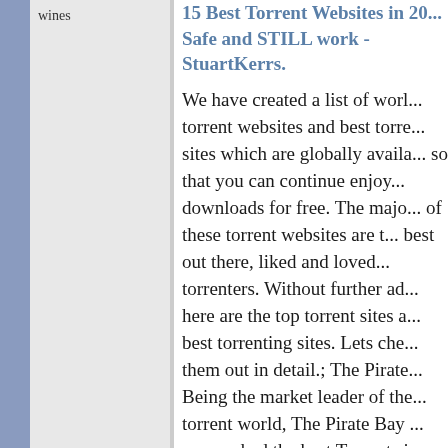wines
15 Best Torrent Websites in 20... Safe and STILL work - StuartKerrs.
We have created a list of working torrent websites and best torrent sites which are globally available so that you can continue enjoying downloads for free. The majority of these torrent websites are the best out there, liked and loved by torrenters. Without further ado, here are the top torrent sites and best torrenting sites. Lets check them out in detail.; The Pirate Bay: Being the market leader of the torrent world, The Pirate Bay was ranked the best Torrent site 2018 and still holds the title. The site hosts hundreds of torrents of different categories which are available in a simple drop-down menu, making it among the best torrent sites UK for everything. The torrent site offers fast download speeds depending o...